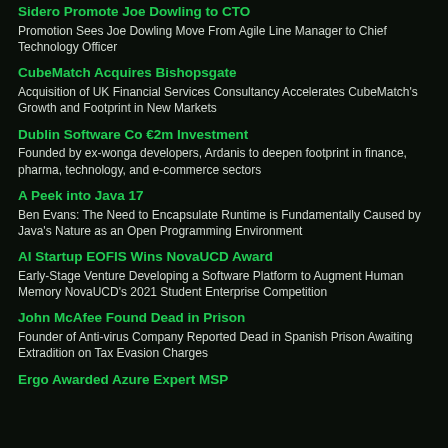Sidero Promote Joe Dowling to CTO
Promotion Sees Joe Dowling Move From Agile Line Manager to Chief Technology Officer
CubeMatch Acquires Bishopsgate
Acquisition of UK Financial Services Consultancy Accelerates CubeMatch's Growth and Footprint in New Markets
Dublin Software Co €2m Investment
Founded by ex-wonga developers, Ardanis to deepen footprint in finance, pharma, technology, and e-commerce sectors
A Peek into Java 17
Ben Evans: The Need to Encapsulate Runtime is Fundamentally Caused by Java's Nature as an Open Programming Environment
AI Startup EOFIS Wins NovaUCD Award
Early-Stage Venture Developing a Software Platform to Augment Human Memory NovaUCD's 2021 Student Enterprise Competition
John McAfee Found Dead in Prison
Founder of Anti-virus Company Reported Dead in Spanish Prison Awaiting Extradition on Tax Evasion Charges
Ergo Awarded Azure Expert MSP